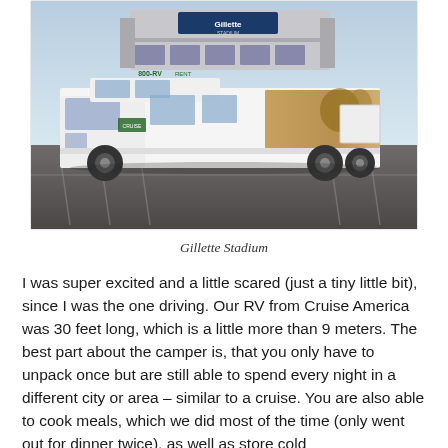[Figure (photo): A large white RV with '800-RV RENT' written on the side parked in a parking lot in front of Gillette Stadium. The RV has landscape graphics on its rear section.]
Gillette Stadium
I was super excited and a little scared (just a tiny little bit), since I was the one driving. Our RV from Cruise America was 30 feet long, which is a little more than 9 meters. The best part about the camper is, that you only have to unpack once but are still able to spend every night in a different city or area – similar to a cruise. You are also able to cook meals, which we did most of the time (only went out for dinner twice), as well as store cold